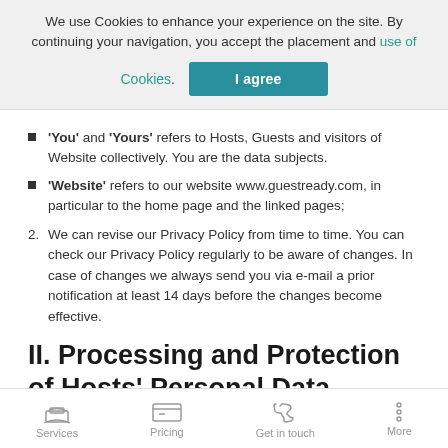We use Cookies to enhance your experience on the site. By continuing your navigation, you accept the placement and use of Cookies.
'You' and 'Yours' refers to Hosts, Guests and visitors of Website collectively. You are the data subjects.
'Website' refers to our website www.guestready.com, in particular to the home page and the linked pages;
2. We can revise our Privacy Policy from time to time. You can check our Privacy Policy regularly to be aware of changes. In case of changes we always send you via e-mail a prior notification at least 14 days before the changes become effective.
II. Processing and Protection of Hosts' Personal Data
Services | Pricing | Get in touch | More